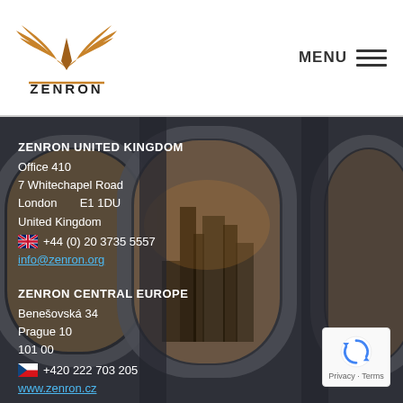[Figure (logo): Zenron logo with golden wing design and ZENRON text below]
MENU ≡
[Figure (photo): Airplane window view showing city skyline (New York), dark moody background with multiple oval aircraft windows]
ZENRON UNITED KINGDOM
Office 410
7 Whitechapel Road
London       E1 1DU
United Kingdom
🇬🇧+44 (0) 20 3735 5557
info@zenron.org

ZENRON CENTRAL EUROPE
Benešovská 34
Prague 10
101 00
🇨🇿+420 222 703 205
www.zenron.cz
[Figure (logo): Google reCAPTCHA badge with Privacy - Terms text]